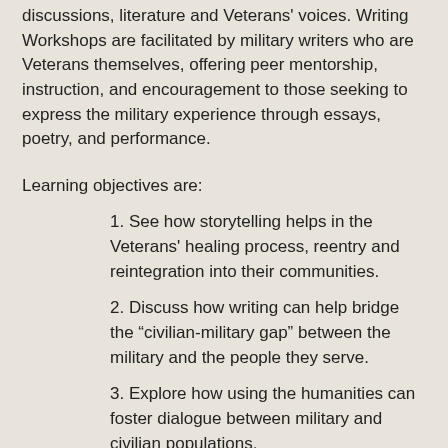discussions, literature and Veterans' voices. Writing Workshops are facilitated by military writers who are Veterans themselves, offering peer mentorship, instruction, and encouragement to those seeking to express the military experience through essays, poetry, and performance.
Learning objectives are:
1. See how storytelling helps in the Veterans' healing process, reentry and reintegration into their communities.
2. Discuss how writing can help bridge the “civilian-military gap” between the military and the people they serve.
3. Explore how using the humanities can foster dialogue between military and civilian populations.